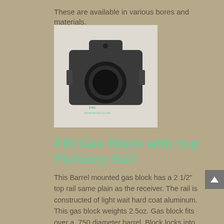These are available in various bores and materials.
[Figure (photo): Photo of a PRI gas block — a small dark grey metal clamp/block component with a circular bore, viewed from the side.]
PRI Gas Block with Top Picitinny Rail
This Barrel mounted gas block has a 2 1/2″ top rail same plain as the receiver. The rail is constructed of light wait hard coat aluminum. This gas block weights 2.5oz. Gas block fits over a .750 diameter barrel. Block locks into place with 2 crossbolts the same as our original gas block front sight.
[Figure (photo): Photo of a PRI gas block with top Picatinny rail — a black metal component with multiple rail slots on top and a circular bore at the bottom.]